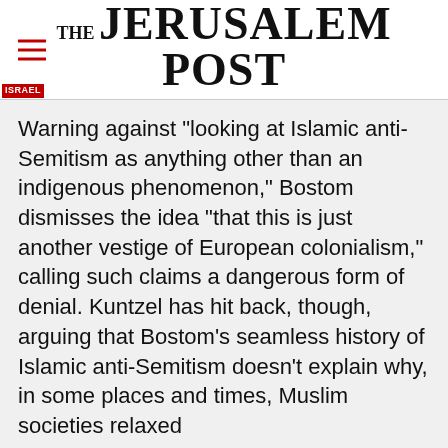THE JERUSALEM POST
Warning against "looking at Islamic anti-Semitism as anything other than an indigenous phenomenon," Bostom dismisses the idea "that this is just another vestige of European colonialism," calling such claims a dangerous form of denial. Kuntzel has hit back, though, arguing that Bostom's seamless history of Islamic anti-Semitism doesn't explain why, in some places and times, Muslim societies relaxed
Advertisement